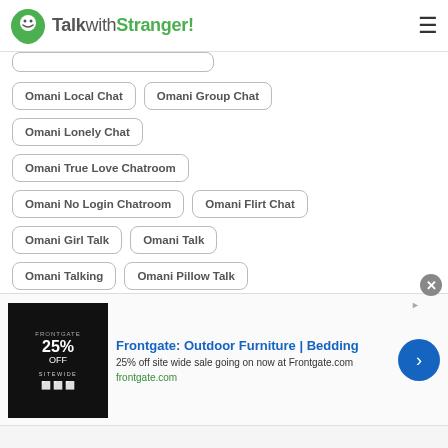TalkwithStranger!
Omani Local Chat
Omani Group Chat
Omani Lonely Chat
Omani True Love Chatroom
Omani No Login Chatroom
Omani Flirt Chat
Omani Girl Talk
Omani Talk
Omani Talking
Omani Pillow Talk
Omani Meet New People
Omani Fun Chat
Omani Text Strangers
[Figure (screenshot): Advertisement banner for Frontgate: Outdoor Furniture | Bedding. 25% off site wide sale going on now at Frontgate.com. Shows dark background ad image with '25% OFF SITEWIDE' text.]